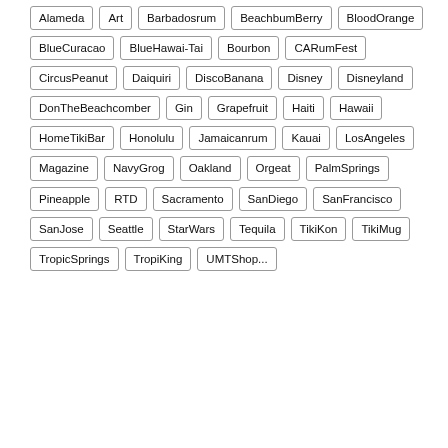Alameda
Art
Barbadosrum
BeachbumBerry
BloodOrange
BlueCuracao
BlueHawai-Tai
Bourbon
CARumFest
CircusPeanut
Daiquiri
DiscoBanana
Disney
Disneyland
DonTheBeachcomber
Gin
Grapefruit
Haiti
Hawaii
HomeTikiBar
Honolulu
Jamaicanrum
Kauai
LosAngeles
Magazine
NavyGrog
Oakland
Orgeat
PalmSprings
Pineapple
RTD
Sacramento
SanDiego
SanFrancisco
SanJose
Seattle
StarWars
Tequila
TikiKon
TikiMug
TropicSprings
TropiKing
UMTShop...